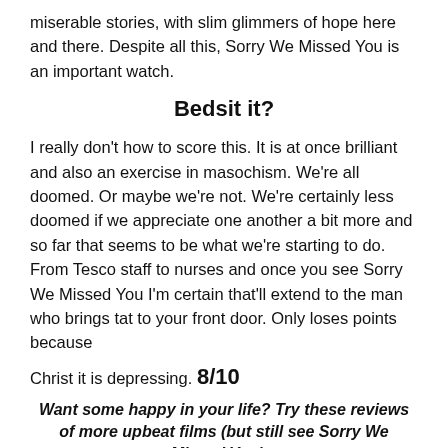miserable stories, with slim glimmers of hope here and there. Despite all this, Sorry We Missed You is an important watch.
Bedsit it?
I really don't how to score this. It is at once brilliant and also an exercise in masochism. We're all doomed. Or maybe we're not. We're certainly less doomed if we appreciate one another a bit more and so far that seems to be what we're starting to do. From Tesco staff to nurses and once you see Sorry We Missed You I'm certain that'll extend to the man who brings tat to your front door. Only loses points because Christ it is depressing. 8/10
Want some happy in your life? Try these reviews of more upbeat films (but still see Sorry We Missed You)...
DROP DEAD GORGEOUS
THE PEANUT BUTTER FALCON
WHERE TO INVADE NEXT